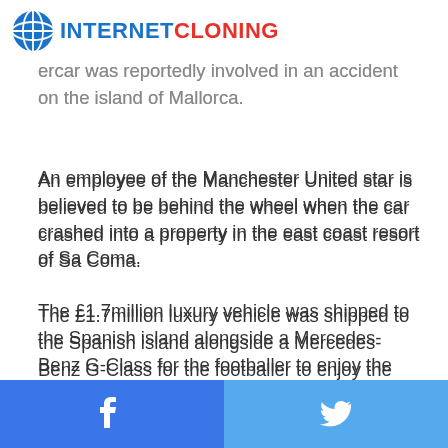INTERNETCLONING
...ercar was reportedly involved in an accident on the island of Mallorca.
An employee of the Manchester United star is believed to be behind the wheel when the car crashed into a property in the east coast resort of Sa Coma.
The £1.7million luxury vehicle was shipped to the Spanish island alongside a Mercedes-Benz G-Class for the footballer to enjoy the summer holidays with the family.
The front of the Bugatti was damaged but the driver is believed to be unharmed after the crash happened around 11am local time this morning.
Facebook | Twitter share buttons